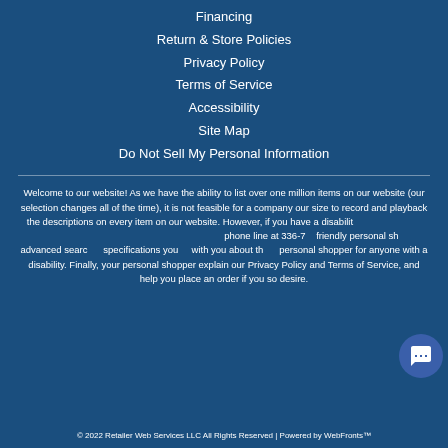Financing
Return & Store Policies
Privacy Policy
Terms of Service
Accessibility
Site Map
Do Not Sell My Personal Information
Welcome to our website! As we have the ability to list over one million items on our website (our selection changes all of the time), it is not feasible for a company our size to record and playback the descriptions on every item on our website. However, if you have a disability we are here to help you. Please call our disability services phone line at 336-7... our kind and friendly personal sh... advanced sear... specifications you ... with you about th... personal shopper for anyone with a disability. Finally, your personal shopper will explain our Privacy Policy and Terms of Service, and help you place an order if you so desire.
[Figure (screenshot): Chat popup with avatar and 'Hi there, have a question? Text us here.' message bubble, close button, and chat icon button]
© 2022 Retailer Web Services LLC All Rights Reserved | Powered by WebFronts™